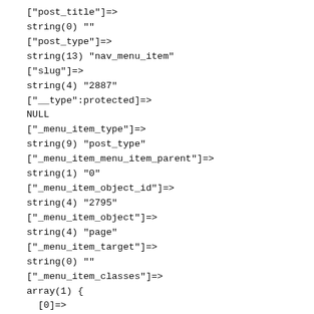["post_title"]=>
string(0) ""
["post_type"]=>
string(13) "nav_menu_item"
["slug"]=>
string(4) "2887"
["__type":protected]=>
NULL
["_menu_item_type"]=>
string(9) "post_type"
["_menu_item_menu_item_parent"]=>
string(1) "0"
["_menu_item_object_id"]=>
string(4) "2795"
["_menu_item_object"]=>
string(4) "page"
["_menu_item_target"]=>
string(0) ""
["_menu_item_classes"]=>
array(1) {
  [0]=>
  string(0) ""